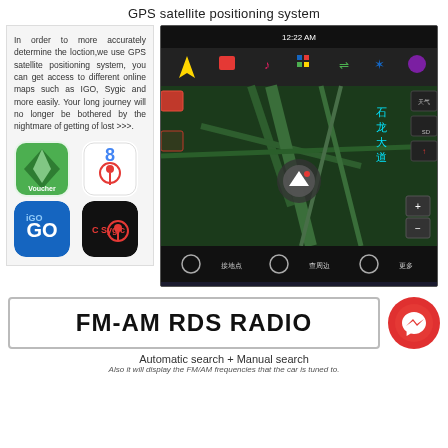GPS satellite positioning system
In order to more accurately determine the loction,we use GPS satellite positioning system, you can get access to different online maps such as IGO, Sygic and more easily. Your long journey will no longer be bothered by the nightmare of getting of lost >>>.
[Figure (screenshot): GPS navigation app screenshot showing map with Chinese text labels, navigation icons, and car controls]
[Figure (screenshot): Four navigation app icons: Voucher/Maps, Google Maps, IGO, Sygic]
[Figure (other): FM-AM RDS RADIO banner label]
[Figure (illustration): Facebook Messenger logo circle icon in red]
Automatic search + Manual search
Also it will display the FM/AM frequencies that the car is tuned to.